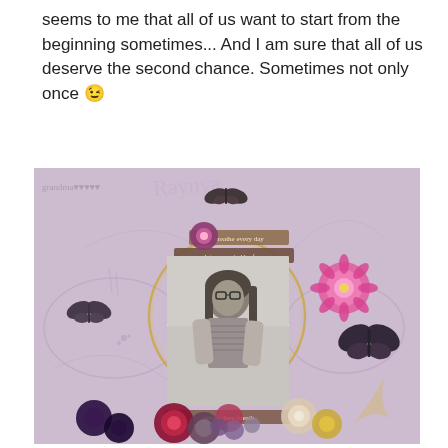seems to me that all of us want to start from the beginning sometimes... And I am sure that all of us deserve the second chance. Sometimes not only once 😉
[Figure (illustration): A decorative scrapbook layout page with a black-and-white photo of a young woman with glasses and long hair, surrounded by floral embellishments (roses, pink dahlias), butterfly decorations, a circular gold frame element, and text banners reading 'breathe every day', 'let your mind be free', and 'take a deep breath'. The background is a soft lavender/purple tone with swirling designs.]